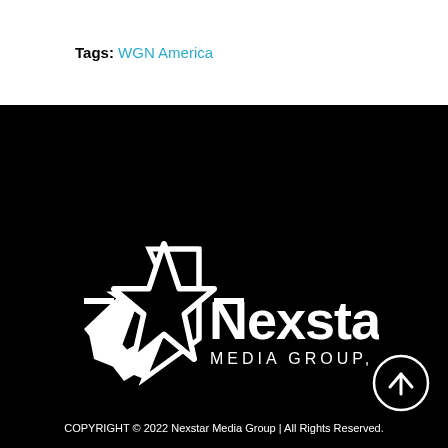Tags: WGN America
[Figure (logo): Nexstar Media Group, Inc. white logo on black background — a five-pointed star outline with an arrow/chevron shape on the left, and 'Nexstar Media Group, Inc.' text in white]
[Figure (other): White circular scroll-to-top button with an upward arrow inside, on black background]
COPYRIGHT © 2022 Nexstar Media Group | All Rights Reserved.